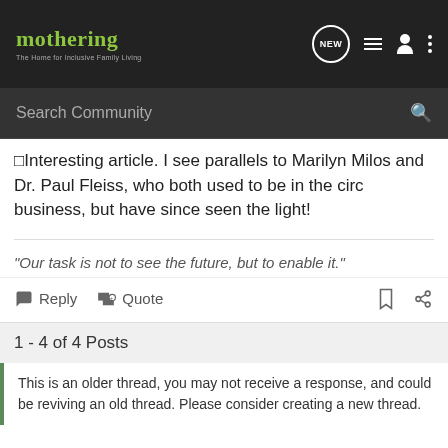mothering — The Home for Inclusive Family Living
Search Community
Interesting article. I see parallels to Marilyn Milos and Dr. Paul Fleiss, who both used to be in the circ business, but have since seen the light!
"Our task is not to see the future, but to enable it."
Reply   Quote
1 - 4 of 4 Posts
This is an older thread, you may not receive a response, and could be reviving an old thread. Please consider creating a new thread.